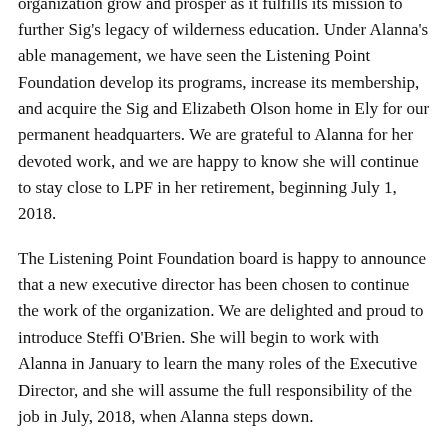important change. Our Executive Director, Alanna Dore, has served LPF for the last twelve years and has seen our organization grow and prosper as it fulfills its mission to further Sig's legacy of wilderness education. Under Alanna's able management, we have seen the Listening Point Foundation develop its programs, increase its membership, and acquire the Sig and Elizabeth Olson home in Ely for our permanent headquarters. We are grateful to Alanna for her devoted work, and we are happy to know she will continue to stay close to LPF in her retirement, beginning July 1, 2018.
The Listening Point Foundation board is happy to announce that a new executive director has been chosen to continue the work of the organization. We are delighted and proud to introduce Steffi O'Brien. She will begin to work with Alanna in January to learn the many roles of the Executive Director, and she will assume the full responsibility of the job in July, 2018, when Alanna steps down.